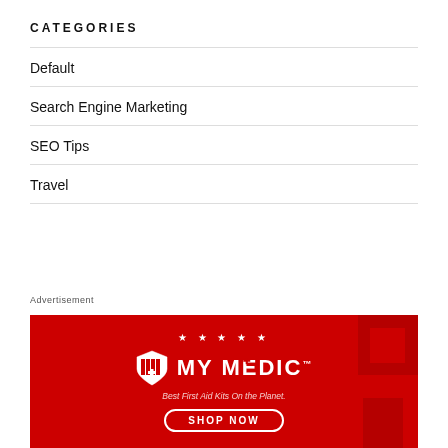CATEGORIES
Default
Search Engine Marketing
SEO Tips
Travel
Advertisement
[Figure (illustration): My Medic advertisement banner with red background, shield logo, brand name MY MEDIC, stars, tagline 'Best First Aid Kits On the Planet.', and SHOP NOW button]